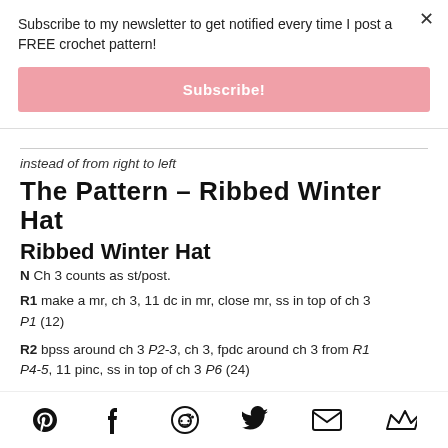Subscribe to my newsletter to get notified every time I post a FREE crochet pattern!
Subscribe!
instead of from right to left
The Pattern – Ribbed Winter Hat
Ribbed Winter Hat
N Ch 3 counts as st/post.
R1 make a mr, ch 3, 11 dc in mr, close mr, ss in top of ch 3 P1 (12)
R2 bpss around ch 3 P2-3, ch 3, fpdc around ch 3 from R1 P4-5, 11 pins, ss in top of ch 3 P6 (24)
Social share icons: Pinterest, Facebook, Reddit, Twitter, Email, Crown